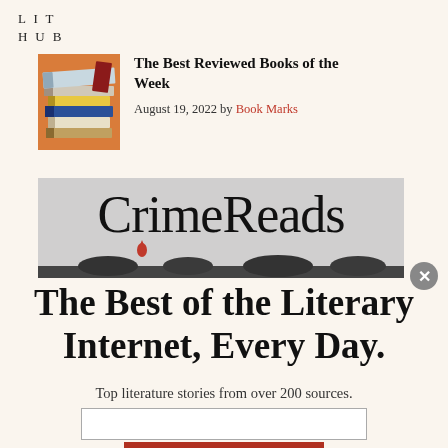LIT HUB
The Best Reviewed Books of the Week
August 19, 2022 by Book Marks
[Figure (illustration): CrimeReads banner logo with large serif text and a red drop below it, partially showing dark silhouetted figures at the bottom]
The Best of the Literary Internet, Every Day.
Top literature stories from over 200 sources.